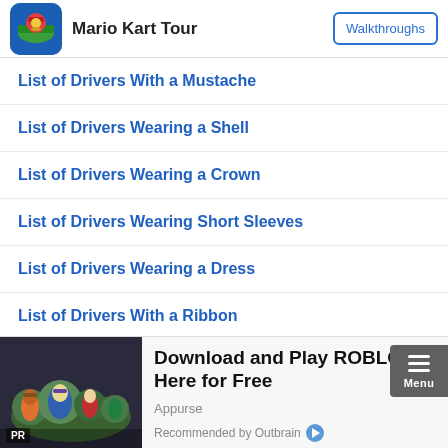Mario Kart Tour | Walkthroughs
List of Drivers With a Mustache
List of Drivers Wearing a Shell
List of Drivers Wearing a Crown
List of Drivers Wearing Short Sleeves
List of Drivers Wearing a Dress
List of Drivers With a Ribbon
List of Drivers From the Kong Family
[Figure (photo): Advertisement banner: Download and Play ROBLOX Here for Free, Appurse, Recommended by Outbrain]